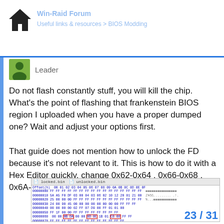Home icon and site navigation header
Leader
Do not flash constantly stuff, you will kill the chip. What's the point of flashing that frankenstein BIOS region I uploaded when you have a proper dumped one? Wait and adjust your options first.

That guide does not mention how to unlock the FD because it's not relevant to it. This is how to do it with a Hex Editor quickly, change 0x62-0x64 , 0x66-0x68 , 0x6A-0x6C to FFFF:
[Figure (screenshot): Hex editor screenshot showing locked.bin and unlocked.bin tabs with hex values, rows 00000000 through 00000070, with highlighted cells at 0x60 row: 0B DA, 0D 0C, C8 08]
23 / 31